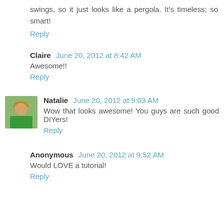swings, so it just looks like a pergola. It's timeless; so smart!
Reply
Claire  June 20, 2012 at 8:42 AM
Awesome!!
Reply
Natalie  June 20, 2012 at 9:03 AM
Wow that looks awesome! You guys are such good DIYers!
Reply
Anonymous  June 20, 2012 at 9:52 AM
Would LOVE a tutorial!
Reply